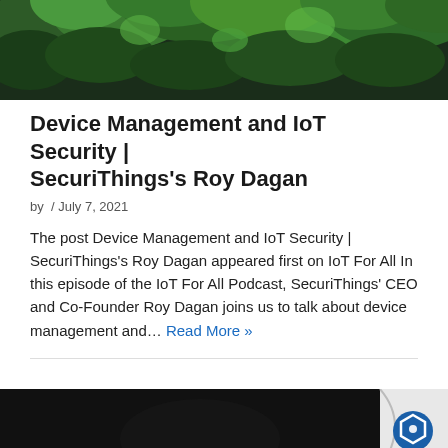[Figure (photo): Green foliage/tree branches hero image at top of article]
Device Management and IoT Security | SecuriThings's Roy Dagan
by  / July 7, 2021
The post Device Management and IoT Security | SecuriThings's Roy Dagan appeared first on IoT For All In this episode of the IoT For All Podcast, SecuriThings' CEO and Co-Founder Roy Dagan joins us to talk about device management and… Read More »
[Figure (photo): Dark background image at bottom of page with a page-turn curl overlay showing a hexagonal logo and 'Manage' text]